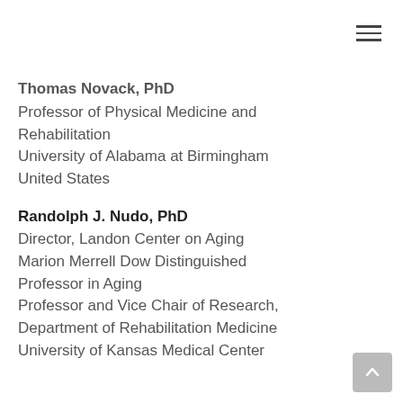Thomas Novack, PhD
Professor of Physical Medicine and Rehabilitation
University of Alabama at Birmingham
United States
Randolph J. Nudo, PhD
Director, Landon Center on Aging
Marion Merrell Dow Distinguished Professor in Aging
Professor and Vice Chair of Research, Department of Rehabilitation Medicine
University of Kansas Medical Center